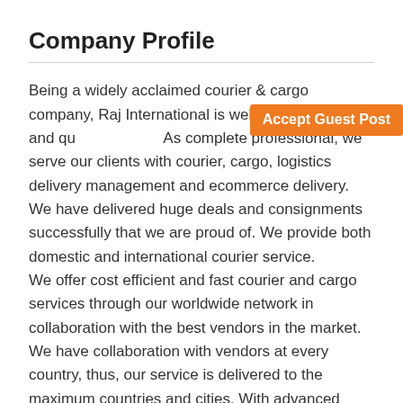Company Profile
Being a widely acclaimed courier & cargo company, Raj International is well known for fast and qu... As complete professional, we serve our clients with courier, cargo, logistics delivery management and ecommerce delivery. We have delivered huge deals and consignments successfully that we are proud of. We provide both domestic and international courier service. We offer cost efficient and fast courier and cargo services through our worldwide network in collaboration with the best vendors in the market. We have collaboration with vendors at every country, thus, our service is delivered to the maximum countries and cities. With advanced technology and networking, our service has gained the popularity it has